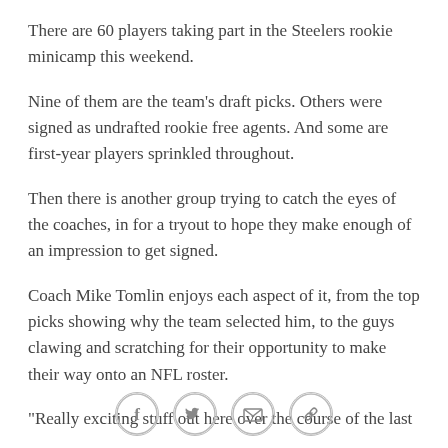There are 60 players taking part in the Steelers rookie minicamp this weekend.
Nine of them are the team's draft picks. Others were signed as undrafted rookie free agents. And some are first-year players sprinkled throughout.
Then there is another group trying to catch the eyes of the coaches, in for a tryout to hope they make enough of an impression to get signed.
Coach Mike Tomlin enjoys each aspect of it, from the top picks showing why the team selected him, to the guys clawing and scratching for their opportunity to make their way onto an NFL roster.
"Really exciting stuff out here over the course of the last
[Figure (other): Social sharing icons: Facebook, Twitter, Email, Link]